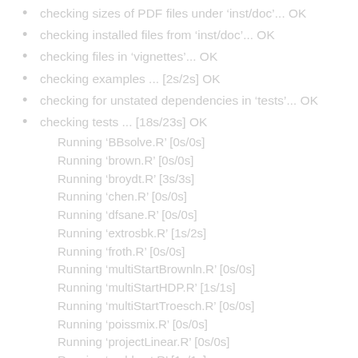checking sizes of PDF files under ‘inst/doc’... OK
checking installed files from ‘inst/doc’... OK
checking files in ‘vignettes’... OK
checking examples ... [2s/2s] OK
checking for unstated dependencies in ‘tests’... OK
checking tests ... [18s/23s] OK
Running ‘BBsolve.R’ [0s/0s]
Running ‘brown.R’ [0s/0s]
Running ‘broydt.R’ [3s/3s]
Running ‘chen.R’ [0s/0s]
Running ‘dfsane.R’ [0s/0s]
Running ‘extrosbk.R’ [1s/2s]
Running ‘froth.R’ [0s/0s]
Running ‘multiStartBrownln.R’ [0s/0s]
Running ‘multiStartHDP.R’ [1s/1s]
Running ‘multiStartTroesch.R’ [0s/0s]
Running ‘poissmix.R’ [0s/0s]
Running ‘projectLinear.R’ [0s/0s]
Running ‘rosbkext.R’ [1s/1s]
Running ‘sane.R’ [0s/0s]
Running ‘sc2.R’ [0s/0s]
Running ‘spgExact.R’ [0s/0s]
Running ‘trig.R’ [0s/0s]
Running ‘trigexp.R’ [4s/4s]
Running ‘troesch.R’ [4s/5s]